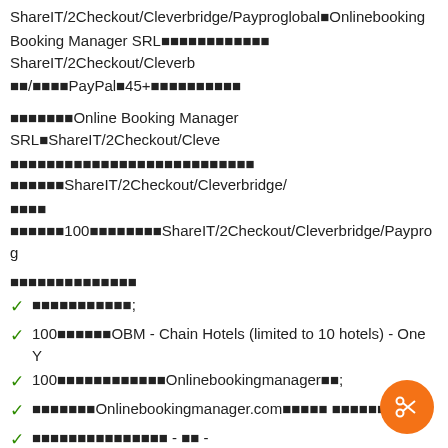ShareIT/2Checkout/Cleverbridge/Payproglobal■Onlinebooking
Booking Manager SRL■■■■■■■■■■■■ ShareIT/2Checkout/Cleverb
■■/■■■■PayPal■45+■■■■■■■■■■
■■■■■■■Online Booking Manager SRL■ShareIT/2Checkout/Cleve
■■■■■■■■■■■■■■■■■■■■■■■■■■■ ■■■■■■ShareIT/2Checkout/Cleverbridge/
■■■■ ■■■■■■100■■■■■■■■ShareIT/2Checkout/Cleverbridge/Payprog
■■■■■■■■■■■■■■
■■■■■■■■■■■;
100■■■■■■OBM - Chain Hotels (limited to 10 hotels) - One Y
100■■■■■■■■■■■■Onlinebookingmanager■■;
■■■■■■■Onlinebookingmanager.com■■■■■ ■■■■■■■■■■
■■■■■■■■■■■■■■■ - ■■ - ShareIT/2Checkout/Cleverbridge/Paypr
■■■■■■■■■■■■■;